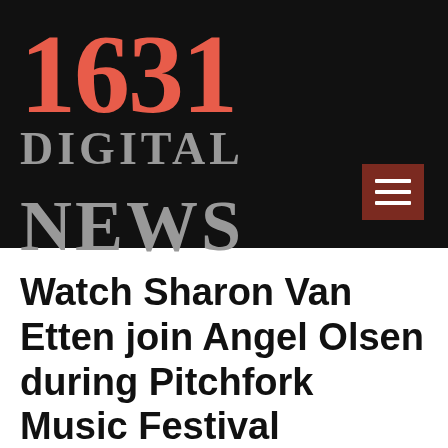[Figure (logo): 1631 Digital News logo on black background with large red numerals '1631', grey text 'DIGITAL' and 'NEWS', and a dark red hamburger menu icon in the bottom right]
Watch Sharon Van Etten join Angel Olsen during Pitchfork Music Festival